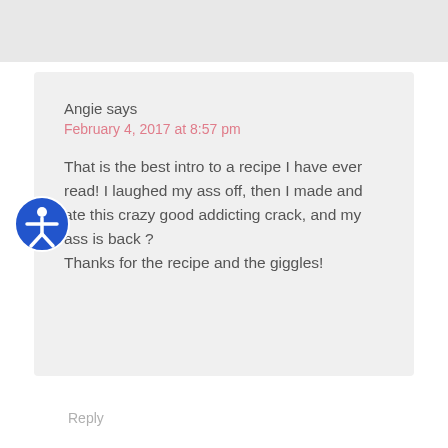Angie says
February 4, 2017 at 8:57 pm
That is the best intro to a recipe I have ever read! I laughed my ass off, then I made and ate this crazy good addicting crack, and my ass is back ?
Thanks for the recipe and the giggles!
Reply